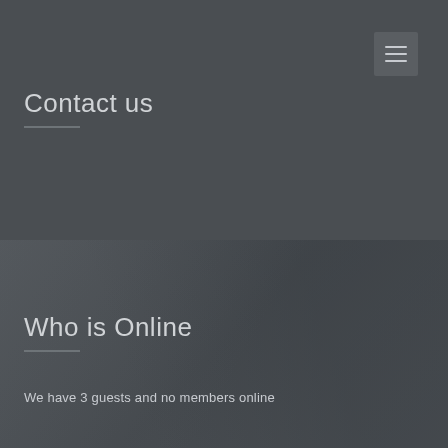[Figure (other): Hamburger menu icon button in top-right corner on dark grey background]
Contact us
Who is Online
We have 3 guests and no members online